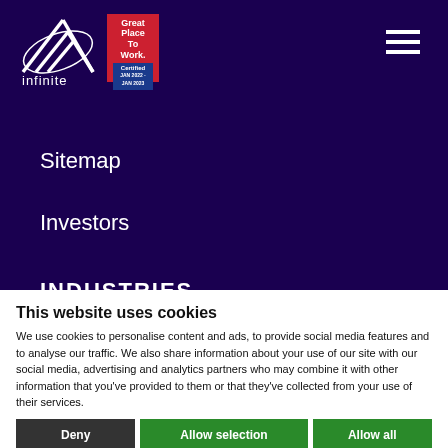[Figure (logo): Infinite company logo with white mountain/triangle graphic and 'infinite' text below, alongside a 'Great Place To Work Certified' badge]
Sitemap
Investors
INDUSTRIES
Healthcare
Media & Entertainment
This website uses cookies
We use cookies to personalise content and ads, to provide social media features and to analyse our traffic. We also share information about your use of our site with our social media, advertising and analytics partners who may combine it with other information that you've provided to them or that they've collected from your use of their services.
Deny | Allow selection | Allow all
Necessary   Preferences   Statistics   Show details
Marketing